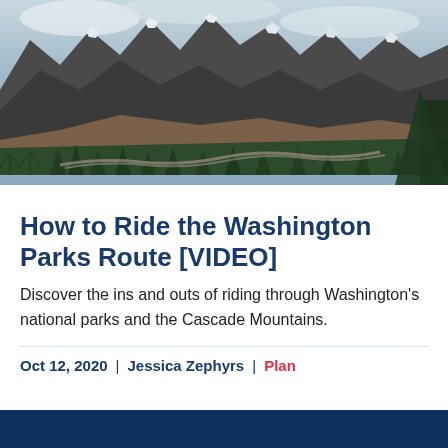[Figure (photo): Mountain landscape photograph showing dark rocky peaks with patches of snow, dense evergreen forest in the foreground, a winding road visible at the base of the mountains, and cloudy sky above. This appears to be a scene from the Cascade Mountains in Washington state.]
How to Ride the Washington Parks Route [VIDEO]
Discover the ins and outs of riding through Washington's national parks and the Cascade Mountains.
Oct 12, 2020 | Jessica Zephyrs | Plan